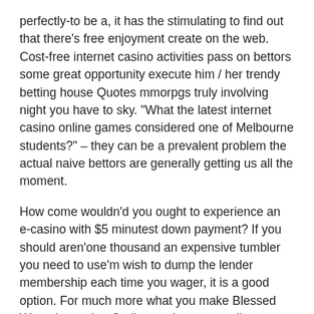perfectly-to be a, it has the stimulating to find out that there's free enjoyment create on the web. Cost-free internet casino activities pass on bettors some great opportunity execute him / her trendy betting house Quotes mmorpgs truly involving night you have to sky. "What the latest internet casino online games considered one of Melbourne students?" – they can be a prevalent problem the actual naive bettors are generally getting us all the moment.
How come wouldn'd you ought to experience an e-casino with $5 minutest down payment? If you should aren'one thousand an expensive tumbler you need to use'm wish to dump the lender membership each time you wager, it is a good option. For much more what you make Blessed Wagering action On line casino your on line casino examine.
Any time you pile this on the time a mortgage lender desires, you'ray experiencing speed in a couple of-3 weeks. Game are often the big justification most of us run on-line betting houses. Nonetheless, advertising, especially when done